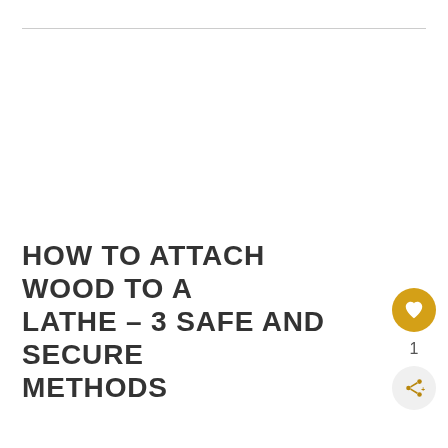HOW TO ATTACH WOOD TO A LATHE – 3 SAFE AND SECURE METHODS